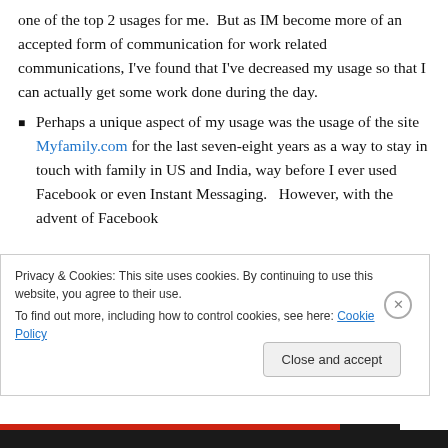one of the top 2 usages for me.  But as IM become more of an accepted form of communication for work related communications, I've found that I've decreased my usage so that I can actually get some work done during the day.
Perhaps a unique aspect of my usage was the usage of the site Myfamily.com for the last seven-eight years as a way to stay in touch with family in US and India, way before I ever used Facebook or even Instant Messaging.   However, with the advent of Facebook and the majority of my family members joining it, th...
Privacy & Cookies: This site uses cookies. By continuing to use this website, you agree to their use.
To find out more, including how to control cookies, see here: Cookie Policy